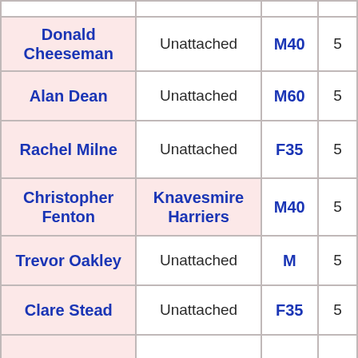| Name | Club | Category | Time |
| --- | --- | --- | --- |
| Donald Cheeseman | Unattached | M40 | 5:… |
| Alan Dean | Unattached | M60 | 5:… |
| Rachel Milne | Unattached | F35 | 5:… |
| Christopher Fenton | Knavesmire Harriers | M40 | 5:… |
| Trevor Oakley | Unattached | M | 5:… |
| Clare Stead | Unattached | F35 | 5:… |
| Ian Rose | Unattached | M | 5:… |
| Kevin Wilkinson | Havering 90 … | M70 | 5:… |